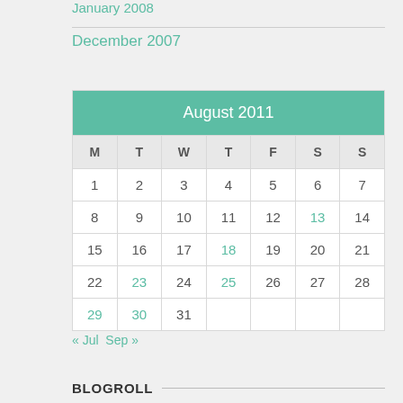January 2008
December 2007
| M | T | W | T | F | S | S |
| --- | --- | --- | --- | --- | --- | --- |
| 1 | 2 | 3 | 4 | 5 | 6 | 7 |
| 8 | 9 | 10 | 11 | 12 | 13 | 14 |
| 15 | 16 | 17 | 18 | 19 | 20 | 21 |
| 22 | 23 | 24 | 25 | 26 | 27 | 28 |
| 29 | 30 | 31 |  |  |  |  |
« Jul  Sep »
BLOGROLL